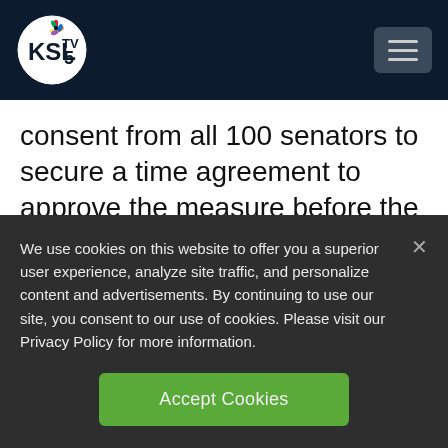KSL TV 5 — Navigation header with logo and menu button
consent from all 100 senators to secure a time agreement to approve the measure before the Friday at midnight deadline.
Republican Sen. Mike Rounds of South Dakota said it was wrong for Democrats to
We use cookies on this website to offer you a superior user experience, analyze site traffic, and personalize content and advertisements. By continuing to use our site, you consent to our use of cookies. Please visit our Privacy Policy for more information.
Accept Cookies